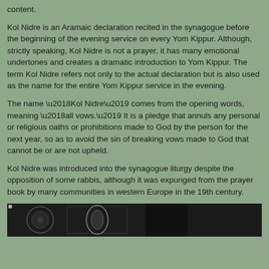content.
Kol Nidre is an Aramaic declaration recited in the synagogue before the beginning of the evening service on every Yom Kippur. Although, strictly speaking, Kol Nidre is not a prayer, it has many emotional undertones and creates a dramatic introduction to Yom Kippur. The term Kol Nidre refers not only to the actual declaration but is also used as the name for the entire Yom Kippur service in the evening.
The name ‘Kol Nidre’ comes from the opening words, meaning ‘all vows.’ It is a pledge that annuls any personal or religious oaths or prohibitions made to God by the person for the next year, so as to avoid the sin of breaking vows made to God that cannot be or are not upheld.
Kol Nidre was introduced into the synagogue liturgy despite the opposition of some rabbis, although it was expunged from the prayer book by many communities in western Europe in the 19th century.
[Figure (photo): Dark image showing circular/ornamental objects, likely related to synagogue or Yom Kippur imagery]